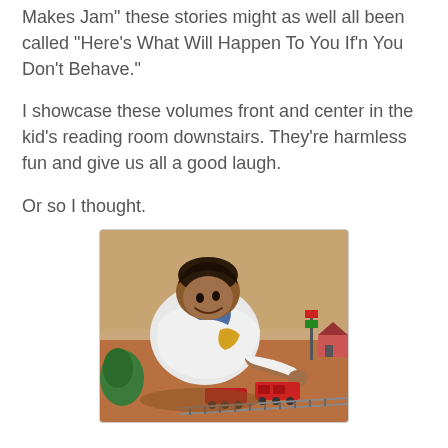Makes Jam" these stories might as well all been called "Here's What Will Happen To You If'n You Don't Behave."
I showcase these volumes front and center in the kid's reading room downstairs. They're harmless fun and give us all a good laugh.
Or so I thought.
[Figure (illustration): Vintage illustration of a smiling boy leaning over a toy train set on the floor, reaching toward red train cars on tracks, with a small house and signal in the background.]